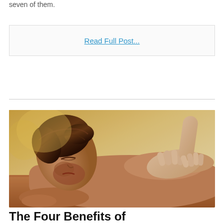seven of them.
Read Full Post...
[Figure (photo): A man lying face down receiving a back massage from a therapist's hands, with a warm golden background.]
The Four Benefits of